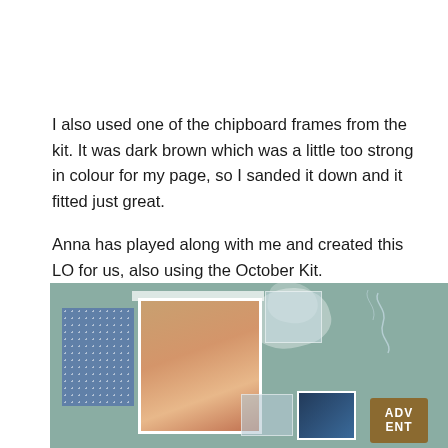I also used one of the chipboard frames from the kit. It was dark brown which was a little too strong in colour for my page, so I sanded it down and it fitted just great.

Anna has played along with me and created this LO for us, also using the October Kit.
[Figure (photo): Scrapbook layout on sage green textured background with a photo of a smiling red-haired boy, decorative blue dotted paper, chipboard elements, paint splashes, and a brown 'ADVENT' badge]